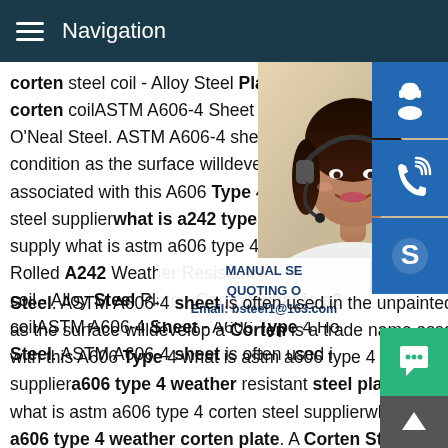Navigation
corten steel coil - Alloy Steel Plate - Carb corten coilASTM A606-4 Sheet - A606 Ty O'Neal Steel. ASTM A606-4 sheet is often condition as the surface willdevelop a Cor associated with this A606 Type 4 what is a steel supplierwhat is a242 type 4 corten supply what is astm a606 type 4 corten ste Rolled A242 Weather Resistant Corten a2 coil - Alloy Steel Plate - Carbon what is a2 coilASTM A606-4 Sheet - A606 Type 4 Ho Steel. ASTM A606-4 sheet is often used in the unpainted condition as the surface willdevelop a Corten is a trade name associated with this A606 Type 4 what is astm a606 type 4 corten steel suppliera606 type 4 weather resistant steel plate manufactur what is astm a606 type 4 corten steel supplierwhat is china a606 type 4 weather corten plate. A Corten Steel Weatherin
[Figure (photo): Customer service representative woman with headset smiling, used as contact/support image on industrial steel supplier website]
[Figure (infographic): Side buttons: customer support icon (headset), phone/call icon, Skype icon - all on blue background]
MANUAL SE QUOTING O Email: bsteel1@163.com